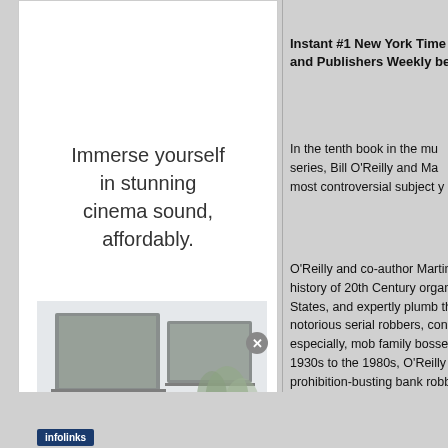[Figure (advertisement): Advertisement panel with text 'Immerse yourself in stunning cinema sound, affordably.' and a blurred living room image with TV and plant. Infolinks badge in bottom left.]
Instant #1 New York Time and Publishers Weekly be
In the tenth book in the mu series, Bill O'Reilly and Ma most controversial subject y
O'Reilly and co-author Martin Dug history of 20th Century organized c States, and expertly plumb the his notorious serial robbers, conmen, especially, mob family bosses. Co 1930s to the 1980s, O'Reilly and D prohibition-busting bank robbers o Clyde, Pretty Boy Floyd and Baby- of the Mafia Commission, the ow